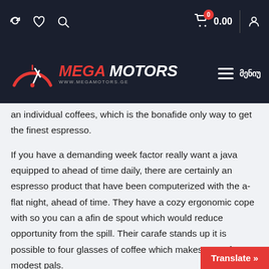Mega Motors navigation bar with icons: refresh, heart, search, cart (0) 0.00, user
[Figure (logo): Mega Motors logo with speedometer graphic and www.megamotors.ge URL, hamburger menu and Georgian text მენიუ]
...an individual coffees, which is the bonafide only way to get the finest espresso.
If you have a demanding week factor really want a java equipped to ahead of time daily, there are certainly an espresso product that have been computerized with the a-flat night, ahead of time. They have a cozy ergonomic cope with so you can a afin de spout which would reduce opportunity from the spill. Their carafe stands up it is possible to four glasses of coffee which makes great for modest pals.